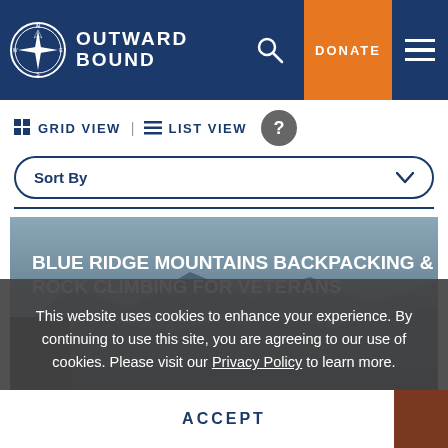OUTWARD BOUND
GRID VIEW | LIST VIEW
Sort By
BLUE RIDGE MOUNTAINS BACKPACKING & ROCK CLIMBING FOR VETERANS
This website uses cookies to enhance your experience. By continuing to use this site, you are agreeing to our use of cookies. Please visit our Privacy Policy to learn more.
ACCEPT